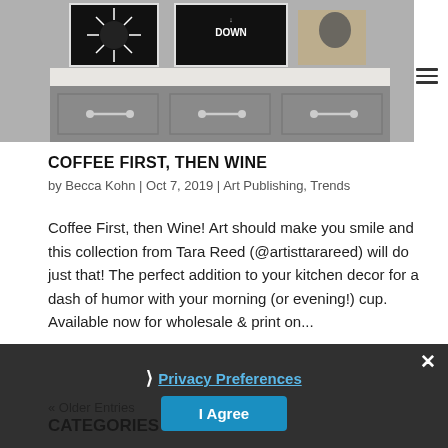[Figure (photo): Photo of kitchen with gray cabinets and framed black art prints showing coffee and wine themed text on the wall above the counter]
COFFEE FIRST, THEN WINE
by Becca Kohn | Oct 7, 2019 | Art Publishing, Trends
Coffee First, then Wine! Art should make you smile and this collection from Tara Reed (@artisttarareed) will do just that! The perfect addition to your kitchen decor for a dash of humor with your morning (or evening!) cup. Available now for wholesale & print on...
« Older Entries
CATEGORIES
Privacy Preferences
I Agree